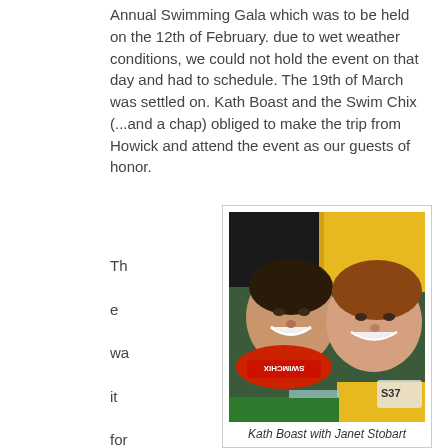Annual Swimming Gala which was to be held on the 12th of February. due to wet weather conditions, we could not hold the event on that day and had to schedule. The 19th of March was settled on. Kath Boast and the Swim Chix (...and a chap) obliged to make the trip from Howick and attend the event as our guests of honor.
The wait for the 19th of M
[Figure (photo): Upside-down selfie photo of two smiling women, one wearing a red hat with text, the other in a yellow top. Green background visible.]
Kath Boast with Janet Stobart